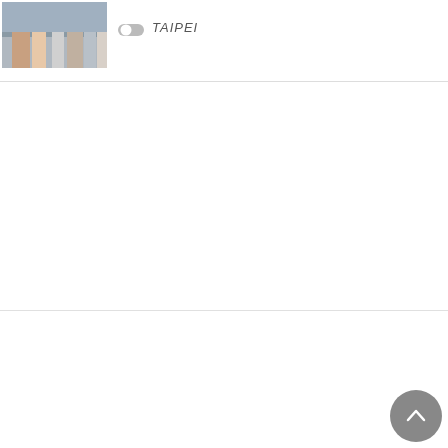[Figure (photo): Thumbnail photo of street scene in Taipei with people walking]
TAIPEI
[Figure (screenshot): Hamburger menu icon with three horizontal bars]
HAPPENING LATEST ARTICLES
[Figure (photo): Thumbnail photo of a black modern building in Osaka]
HAPPENING
Hello! Super Collection –...
OSAKA